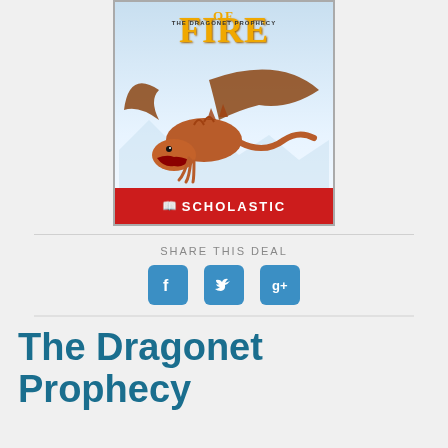[Figure (illustration): Book cover for 'Wings of Fire: The Dragonet Prophecy' published by Scholastic. Shows a dragon flying against a sky background with a red Scholastic banner at the bottom.]
SHARE THIS DEAL
[Figure (infographic): Three social media sharing icons: Facebook (f), Twitter (bird), and Google+ (g+), each in a teal/blue rounded square.]
The Dragonet Prophecy